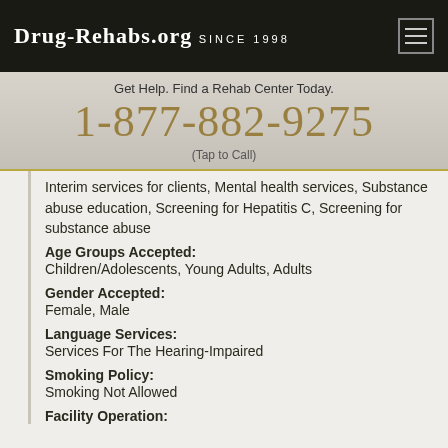Drug-Rehabs.org Since 1998
Get Help. Find a Rehab Center Today.
1-877-882-9275
(Tap to Call)
Interim services for clients, Mental health services, Substance abuse education, Screening for Hepatitis C, Screening for substance abuse
Age Groups Accepted: Children/Adolescents, Young Adults, Adults
Gender Accepted: Female, Male
Language Services: Services For The Hearing-Impaired
Smoking Policy: Smoking Not Allowed
Facility Operation: